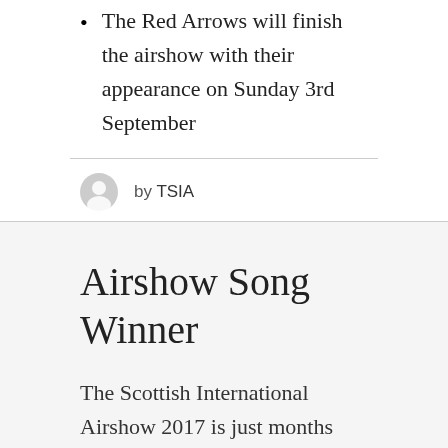The Red Arrows will finish the airshow with their appearance on Sunday 3rd September
by TSIA
Airshow Song Winner
The Scottish International Airshow 2017 is just months away! We are overwhelmed by the support you've shown before we've even been able to announce some aircraft (more on that